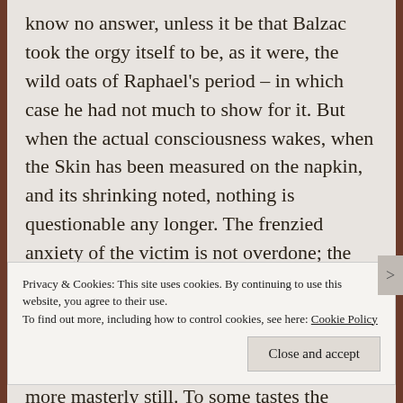know no answer, unless it be that Balzac took the orgy itself to be, as it were, the wild oats of Raphael's period – in which case he had not much to show for it. But when the actual consciousness wakes, when the Skin has been measured on the napkin, and its shrinking noted, nothing is questionable any longer. The frenzied anxiety of the victim is not overdone; the way in which his very frenzy leads him to make greater and even greater drafts on his capital of power without any corresponding satisfaction is masterly. And the close is more masterly still. To some tastes the
Privacy & Cookies: This site uses cookies. By continuing to use this website, you agree to their use.
To find out more, including how to control cookies, see here: Cookie Policy